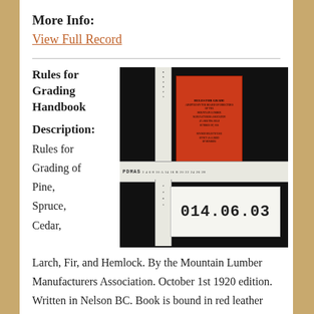More Info:
View Full Record
Rules for Grading Handbook
Description:
Rules for Grading of Pine, Spruce, Cedar,
[Figure (photo): Photo of a small red leather-bound handbook titled 'Rules for Grading' alongside a measuring ruler/scale tool with markings. A white label reads '014.06.03' and another label reads 'PDMAS'.]
Larch, Fir, and Hemlock. By the Mountain Lumber Manufacturers Association. October 1st 1920 edition. Written in Nelson BC. Book is bound in red leather cover. Cover is still in very good condition but has detached from inner pages. Inner pages are bound